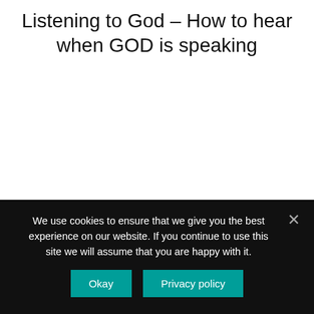Listening to God – How to hear when GOD is speaking
We use cookies to ensure that we give you the best experience on our website. If you continue to use this site we will assume that you are happy with it.
Okay
Privacy policy